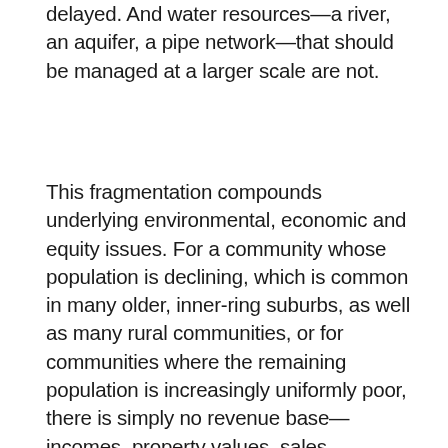delayed. And water resources—a river, an aquifer, a pipe network—that should be managed at a larger scale are not.
This fragmentation compounds underlying environmental, economic and equity issues. For a community whose population is declining, which is common in many older, inner-ring suburbs, as well as many rural communities, or for communities where the remaining population is increasingly uniformly poor, there is simply no revenue base—incomes, property values, sales proceeds, billable water consumption—to generate sufficient resources to manage the water and wastewater system.
If a community has shrunk by 10,000 people, but the system of pipes, pumps and water towers has not shrunk, you have fewer people, and often